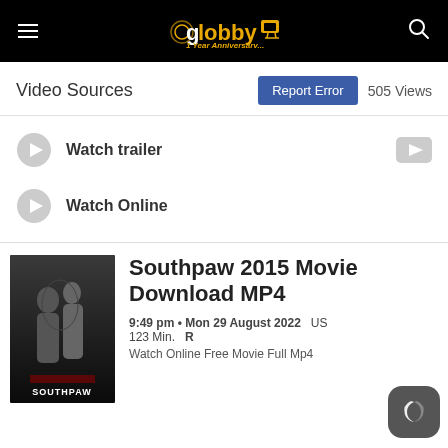NG Lobby TV — 1 Year Anniversary
Video Sources
Report Error   505 Views
Watch trailer
Watch Online
[Figure (photo): Southpaw 2015 movie poster showing two people embracing, dark background, text SOUTHPAW at bottom]
Southpaw 2015 Movie Download MP4
9:49 pm • Mon 29 August 2022   USA   123 Min.   R
Watch Online Free Movie Full Mp4